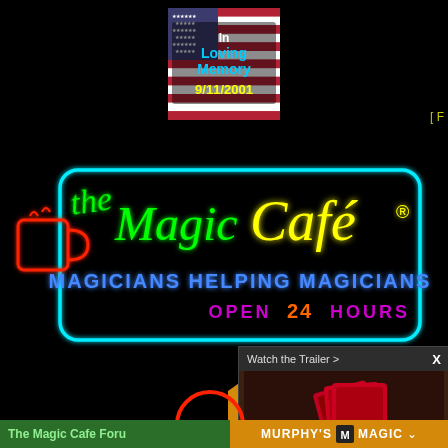[Figure (illustration): American flag memorial badge with text 'In Loving Memory 9/11/2001']
[Figure (logo): The Magic Cafe neon sign logo with coffee cup, text 'MAGICIANS HELPING MAGICIANS' and 'OPEN 24 HOURS']
[Figure (infographic): Three house-shaped orange buttons labeled FREE MAGIC, NEW products, VAULT with]
[Figure (screenshot): Popup showing 'Watch the Trailer >' with image of playing cards and Murphy's Magic logo at bottom]
[ F
The Magic Cafe Foru
MURPHY'S MAGIC